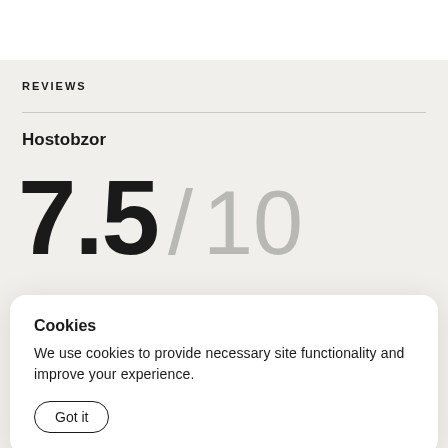REVIEWS
Hostobzor
7.5 / 10
Cookies
We use cookies to provide necessary site functionality and improve your experience.
Got it